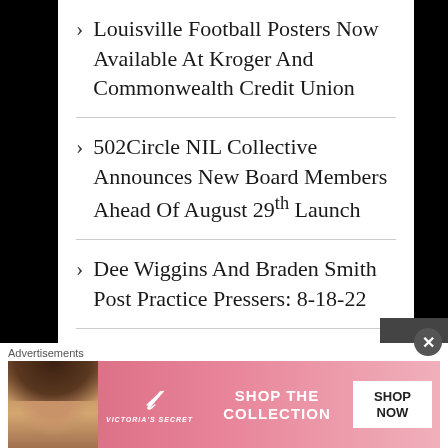Louisville Football Posters Now Available At Kroger And Commonwealth Credit Union
502Circle NIL Collective Announces New Board Members Ahead Of August 29th Launch
Dee Wiggins And Braden Smith Post Practice Pressers: 8-18-22
Fabio Basili Is Officially A Card
Advertisements
[Figure (photo): Victoria's Secret advertisement banner with model, VS logo, 'SHOP THE COLLECTION' text and 'SHOP NOW' button]